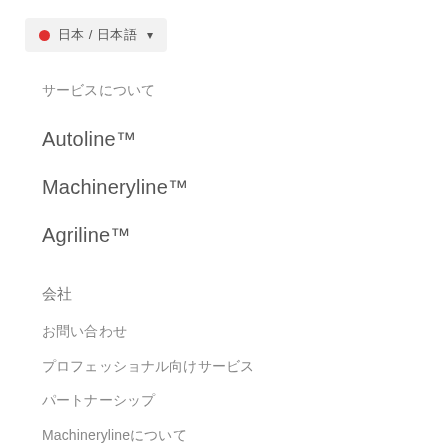● 日本 / 日本語 ▾
サービスについて
Autoline™
Machineryline™
Agriline™
会社
お問い合わせ
プロフェッショナル向けサービス
パートナーシップ
Machinerylineについて
採用情報